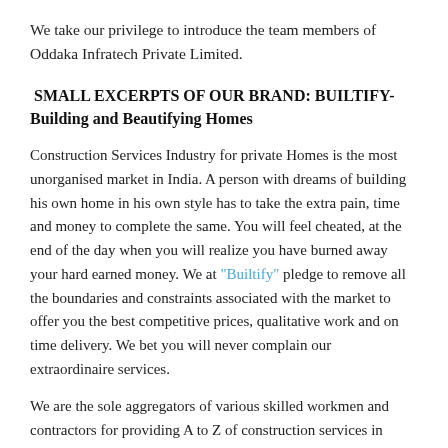We take our privilege to introduce the team members of Oddaka Infratech Private Limited.
SMALL EXCERPTS OF OUR BRAND: BUILTIFY- Building and Beautifying Homes
Construction Services Industry for private Homes is the most unorganised market in India. A person with dreams of building his own home in his own style has to take the extra pain, time and money to complete the same. You will feel cheated, at the end of the day when you will realize you have burned away your hard earned money. We at "Builtify" pledge to remove all the boundaries and constraints associated with the market to offer you the best competitive prices, qualitative work and on time delivery. We bet you will never complain our extraordinaire services.
We are the sole aggregators of various skilled workmen and contractors for providing A to Z of construction services in Bhubaneswar. We negotiate with them so that you have to pay less